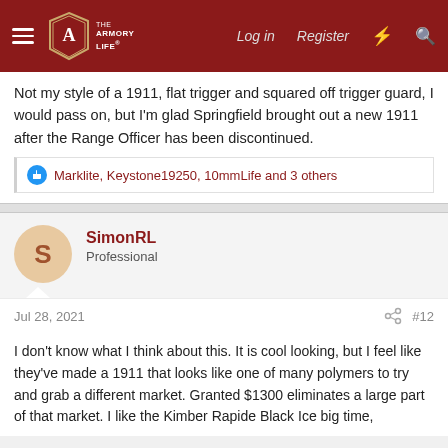The Armory Life — Log in  Register
Not my style of a 1911, flat trigger and squared off trigger guard, I would pass on, but I'm glad Springfield brought out a new 1911 after the Range Officer has been discontinued.
Marklite, Keystone19250, 10mmLife and 3 others
SimonRL
Professional
Jul 28, 2021   #12
I don't know what I think about this. It is cool looking, but I feel like they've made a 1911 that looks like one of many polymers to try and grab a different market. Granted $1300 eliminates a large part of that market. I like the Kimber Rapide Black Ice big time,